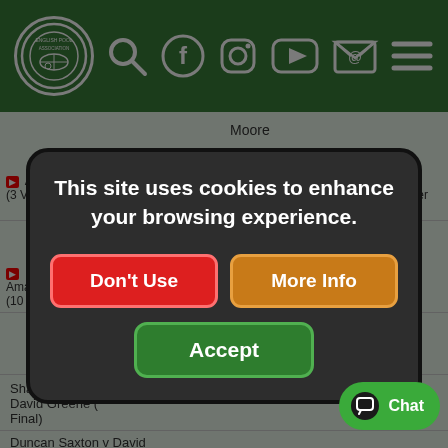[Figure (screenshot): English Pool Association website screenshot with green header bar containing logo and social media icons (search, Facebook, Instagram, YouTube, email, menu). Background shows a video playlist page with green background and content rows. A dark modal cookie consent dialog overlays the center with text 'This site uses cookies to enhance your browsing experience.' and three buttons: Don't Use (red), More Info (orange), Accept (green). A green Chat button appears in the bottom right corner.]